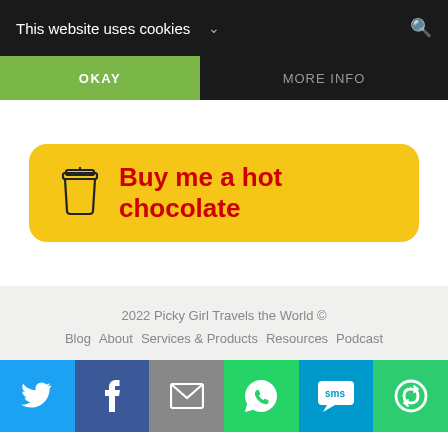This website uses cookies
OKAY | MORE INFO
[Figure (other): Buy me a hot chocolate button with coffee cup icon on yellow rounded rectangle background]
2022 Picky Girl Travels the World ©
Blog  About  Services & Products  Resources  Podcast
[Figure (infographic): Social sharing bar with Twitter, Facebook, Email, WhatsApp, SMS, and Share icons]